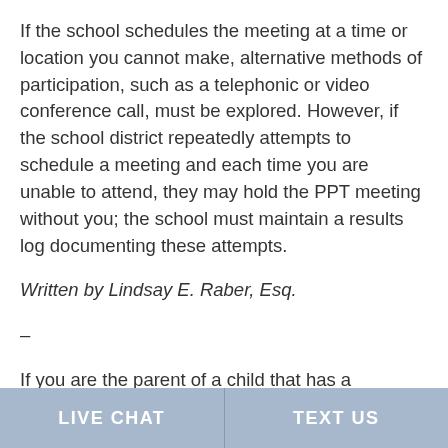If the school schedules the meeting at a time or location you cannot make, alternative methods of participation, such as a telephonic or video conference call, must be explored. However, if the school district repeatedly attempts to schedule a meeting and each time you are unable to attend, they may hold the PPT meeting without you; the school must maintain a results log documenting these attempts.
Written by Lindsay E. Raber, Esq.
–
If you are the parent of a child that has a disability, it is imperative that you participate in this process so
LIVE CHAT   TEXT US